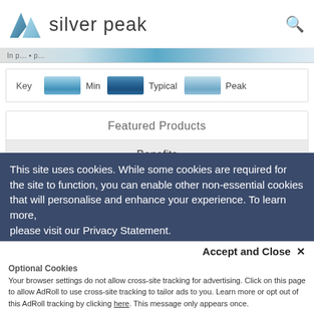[Figure (logo): Silver Peak logo with stylized mountain/wing icon and wordmark 'silver peak' in dark grey, plus a search icon top right]
[Figure (screenshot): Navigation bar strip with gradient blue colors and partial text]
Key    Min    Typical    Peak
Featured Products
Benefits
Resources
This site uses cookies. While some cookies are required for the site to function, you can enable other non-essential cookies that will personalise and enhance your experience. To learn more, please visit our Privacy Statement.
Accept and Close ✕
Optional Cookies
Your browser settings do not allow cross-site tracking for advertising. Click on this page to allow AdRoll to use cross-site tracking to tailor ads to you. Learn more or opt out of this AdRoll tracking by clicking here. This message only appears once.